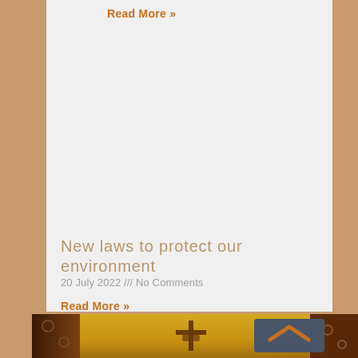Read More »
New laws to protect our environment
20 July 2022 /// No Comments
Read More »
[Figure (photo): Church interior with golden altar background and crucifix, with a dark grey back-to-top button overlay featuring an orange chevron arrow]